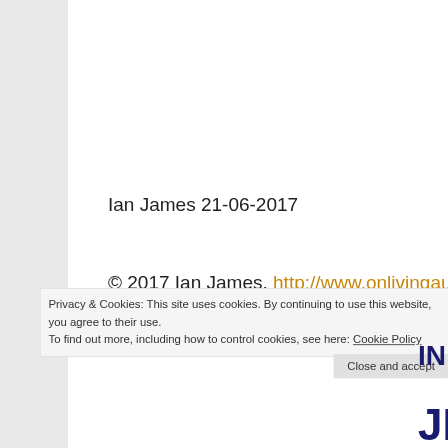Ian James 21-06-2017
© 2017 Ian James, http://www.onlivingauthentically.com
Privacy & Cookies: This site uses cookies. By continuing to use this website, you agree to their use.
To find out more, including how to control cookies, see here: Cookie Policy
Close and accept